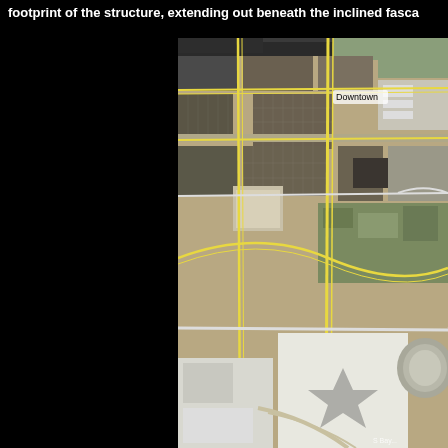footprint of the structure, extending out beneath the inclined fasca
[Figure (map): Aerial/satellite map view showing a downtown urban area with streets, parking lots, buildings, and a large convention center or arena complex in the lower portion. Yellow road lines are visible. A 'Downtown' label appears in the upper right area of the map. A circular dome structure is visible in the lower right. Large white-roofed buildings are visible at the bottom.]